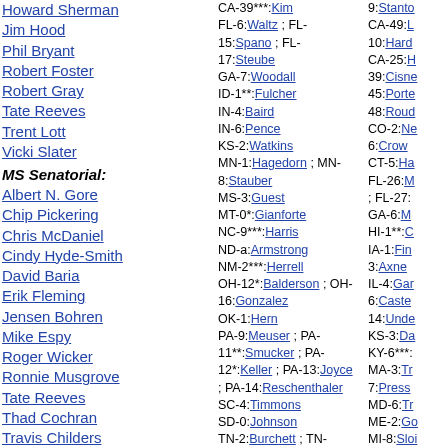Howard Sherman
Jim Hood
Phil Bryant
Robert Foster
Robert Gray
Tate Reeves
Trent Lott
Vicki Slater
MS Senatorial:
Albert N. Gore
Chip Pickering
Chris McDaniel
Cindy Hyde-Smith
David Baria
Erik Fleming
Jensen Bohren
Mike Espy
Roger Wicker
Ronnie Musgrove
Tate Reeves
Thad Cochran
Travis Childers
Freshman class of 2019:
"Freshman class" means "not in Congress in January 2017", with exceptions:
* Special election, so sworn in other than Jan. 2019.
CA-39***:Kim ; FL-6:Waltz ; FL-15:Spano ; FL-17:Steube ; GA-7:Woodall ; ID-1**:Fulcher ; IN-4:Baird ; IN-6:Pence ; KS-2:Watkins ; MN-1:Hagedorn ; MN-8:Stauber ; MS-3:Guest ; MT-0*:Gianforte ; NC-9***:Harris ; ND-a:Armstrong ; NM-2***:Herrell ; OH-12*:Balderson ; OH-16:Gonzalez ; OK-1:Hern ; PA-9:Meuser ; PA-11**:Smucker ; PA-12*:Keller ; PA-13:Joyce ; PA-14:Reschenthaler ; SC-4:Timmons ; SD-0:Johnson ; TN-2:Burchett ; TN-6:Rose ; TN-7:Green ; TX-2:Crenshaw ; TX-3:Taylor ; TX-5:Gooden ; TX-6:Wright ; TX-21:Roy ; TX-27*:Cloud ; VA-5:Riggleman ; VA-6:Cline ; WI-1:Steil ; WV-3:Miller
9:Stanto ; CA-49:L 10:Hard CA-25:H 39:Cisne 45:Porte 48:Roud CO-2:Ne 6:Crow CT-5:Ha FL-26:M ; FL-27: GA-6:M HI-1**:C IA-1:Fin 3:Axne IL-4:Gar 6:Caste 14:Unde KS-3:Da KY-6***: MA-3:Tr 7:Press MD-6:Tr ME-2:Go MI-8:Sloi 9:Levin MI-13*:J 11:Steve MN-2:C 3:Phillip NC-9*** NH-1:Pa NJ-2:Va 3:Kim ; ; NJ-11: NM-1:H 2:Torre NV-3:Le 4**:Hors NY-14: